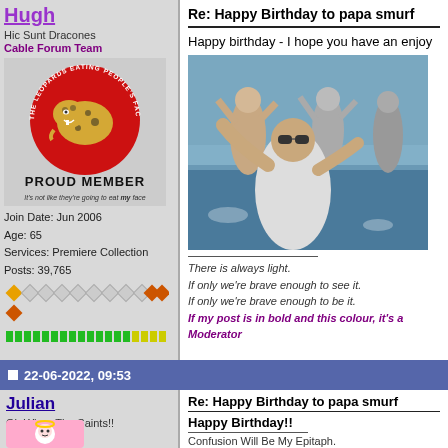Hugh
Hic Sunt Dracones
Cable Forum Team
[Figure (illustration): Leopards Eating People's Faces Party logo - circular red badge with leopard, text around border. PROUD MEMBER text below. Caption: It's not like they're going to eat my face]
Join Date: Jun 2006
Age: 65
Services: Premiere Collection
Posts: 39,765
[Figure (infographic): Reputation diamonds and green/yellow bar indicators]
Re: Happy Birthday to papa smurf
Happy birthday - I hope you have an enjoy
[Figure (photo): People celebrating on a boat, party scene, man with sunglasses in foreground arms raised]
There is always light.
If only we're brave enough to see it.
If only we're brave enough to be it.
If my post is in bold and this colour, it's a Moderator
22-06-2022, 09:53
Julian
Oh When The Saints!!
Re: Happy Birthday to papa smurf
Happy Birthday!!
Confusion Will Be My Epitaph.